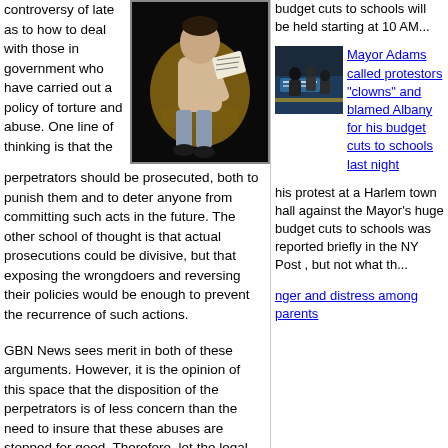controversy of late as to how to deal with those in government who have carried out a policy of torture and abuse. One line of thinking is that the perpetrators should be prosecuted, both to punish them and to deter anyone from committing such acts in the future. The other school of thought is that actual prosecutions could be divisive, but that exposing the wrongdoers and reversing their policies would be enough to prevent the recurrence of such actions.
[Figure (photo): A figurine or puppet of a person sitting in a wicker chair, wearing a sweater and grey pants, against a dark background.]
GBN News sees merit in both of these arguments. However, it is the opinion of this space that the disposition of the perpetrators is of less concern than the need to insure that these abuses are stopped for good. Therefore, let the legal fate of Mayor Bloomberg and
budget cuts to schools will be held starting at 10 AM...
[Figure (photo): Image of Mayor Adams at a town hall event with people in background.]
Mayor Adams called protestors "clowns" and blamed Albany for his budget cuts to schools last night
his protest at a Harlem town hall against the Mayor's huge budget cuts to schools was reported briefly in the NY Post , but not what th...
nger and distress among parents